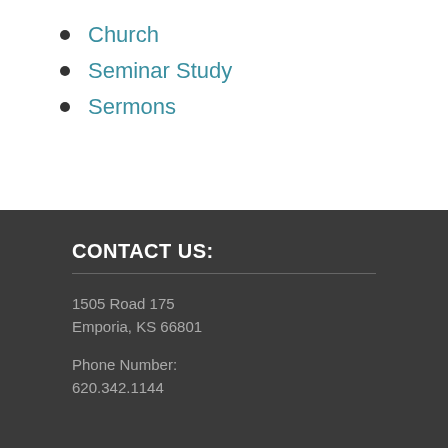Church
Seminar Study
Sermons
CONTACT US:
1505 Road 175
Emporia, KS 66801
Phone Number:
620.342.1144